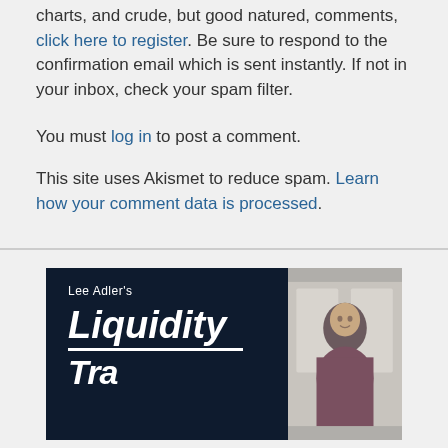charts, and crude, but good natured, comments, click here to register. Be sure to respond to the confirmation email which is sent instantly. If not in your inbox, check your spam filter.
You must log in to post a comment.
This site uses Akismet to reduce spam. Learn how your comment data is processed.
[Figure (illustration): Lee Adler's Liquidity Trader advertisement banner with dark navy background, white bold italic text on the left and a photo of a smiling man on the right side.]